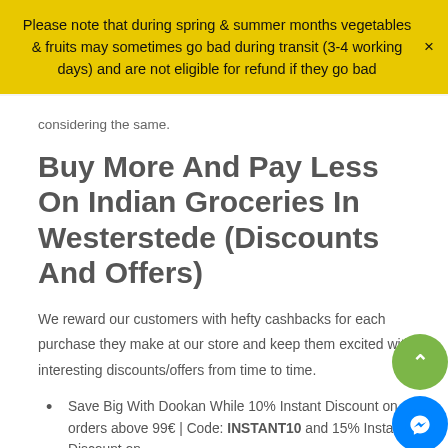Please note that during spring & summer months vegetables & fruits may sometimes go bad during transit (3-4 working days) and are not eligible for refund if they go bad
considering the same.
Buy More And Pay Less On Indian Groceries In Westerstede (Discounts And Offers)
We reward our customers with hefty cashbacks for each purchase they make at our store and keep them excited with interesting discounts/offers from time to time.
Save Big With Dookan While 10% Instant Discount on orders above 99€ | Code: INSTANT10 and 15% Instant Discount on